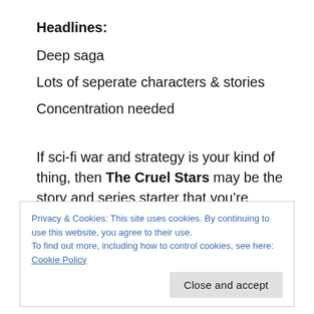Headlines:
Deep saga
Lots of seperate characters & stories
Concentration needed
If sci-fi war and strategy is your kind of thing, then The Cruel Stars may be the story and series starter that you’re looking for. This book reels you in initially but be aware that those characters you just enjoyed reading about switch up pretty
Privacy & Cookies: This site uses cookies. By continuing to use this website, you agree to their use.
To find out more, including how to control cookies, see here: Cookie Policy